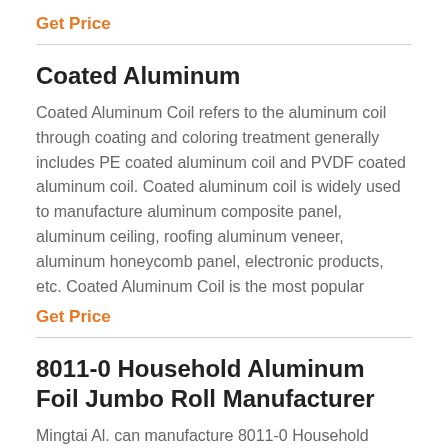Get Price
Coated Aluminum
Coated Aluminum Coil refers to the aluminum coil through coating and coloring treatment generally includes PE coated aluminum coil and PVDF coated aluminum coil. Coated aluminum coil is widely used to manufacture aluminum composite panel, aluminum ceiling, roofing aluminum veneer, aluminum honeycomb panel, electronic products, etc. Coated Aluminum Coil is the most popular
Get Price
8011-0 Household Aluminum Foil Jumbo Roll Manufacturer
Mingtai Al. can manufacture 8011-0 Household aluminum foil jumbo roll with many alloy and tempers, and it can be cut to size at need. 8011-0 Household aluminum foil jumbo